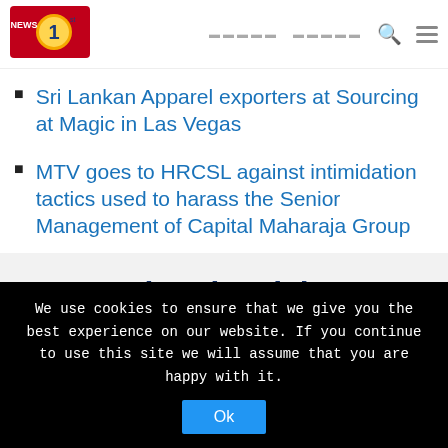[Figure (logo): News 1st logo — red background with gold circle and number 1, text NEWS 1st]
Sri Lankan Apparel exporters at Sourcing at Magic in Las Vegas
MTV goes to HRCSL against intimidation tactics used to harass the Senior Management of Capital Maharaja Group
Related Articles
We use cookies to ensure that we give you the best experience on our website. If you continue to use this site we will assume that you are happy with it.